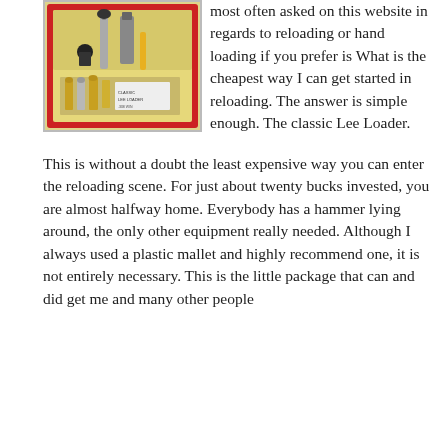[Figure (photo): A red case open to reveal a Lee Loader reloading kit with various tools, dies, and cartridges inside on a light yellow background.]
most often asked on this website in regards to reloading or hand loading if you prefer is What is the cheapest way I can get started in reloading. The answer is simple enough. The classic Lee Loader.
This is without a doubt the least expensive way you can enter the reloading scene. For just about twenty bucks invested, you are almost halfway home. Everybody has a hammer lying around, the only other equipment really needed. Although I always used a plastic mallet and highly recommend one, it is not entirely necessary. This is the little package that can and did get me and many other people